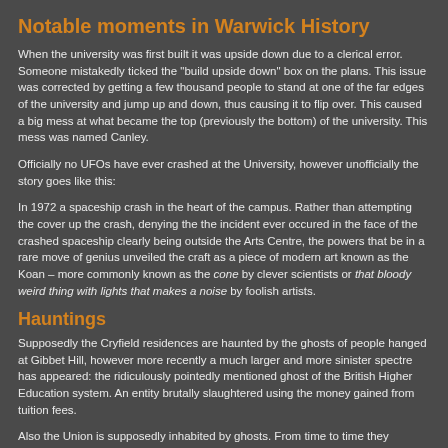Notable moments in Warwick History
When the university was first built it was upside down due to a clerical error. Someone mistakedly ticked the "build upside down" box on the plans. This issue was corrected by getting a few thousand people to stand at one of the far edges of the university and jump up and down, thus causing it to flip over. This caused a big mess at what became the top (previously the bottom) of the university. This mess was named Canley.
Officially no UFOs have ever crashed at the University, however unofficially the story goes like this:
In 1972 a spaceship crash in the heart of the campus. Rather than attempting the cover up the crash, denying the the incident ever occured in the face of the crashed spaceship clearly being outside the Arts Centre, the powers that be in a rare move of genius unveiled the craft as a piece of modern art known as the Koan – more commonly known as the cone by clever scientists or that bloody weird thing with lights that makes a noise by foolish artists.
Hauntings
Supposedly the Cryfield residences are haunted by the ghosts of people hanged at Gibbet Hill, however more recently a much larger and more sinister spectre has appeared: the ridiculously pointedly mentioned ghost of the British Higher Education system. An entity brutally slaughtered using the money gained from tuition fees.
Also the Union is supposedly inhabited by ghosts. From time to time they